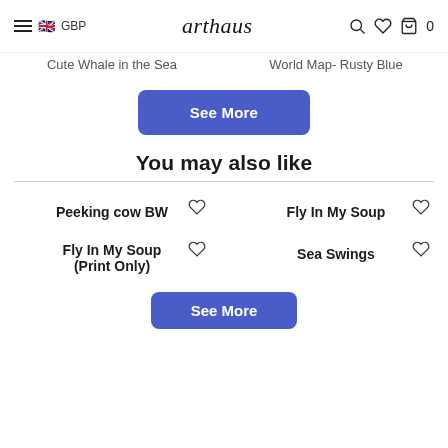arthaus — GBP navigation header with search, wishlist, bag icons and cart count 0
Cute Whale in the Sea
World Map- Rusty Blue
See More
You may also like
Peeking cow BW
Fly In My Soup
Fly In My Soup (Print Only)
Sea Swings